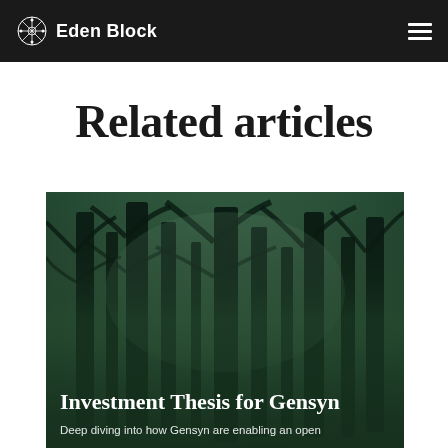Eden Block
Related articles
[Figure (photo): Dark green forest with tall trees and misty atmosphere, used as background for an article card about Gensyn investment thesis]
Investment Thesis for Gensyn
Deep diving into how Gensyn are enabling an open